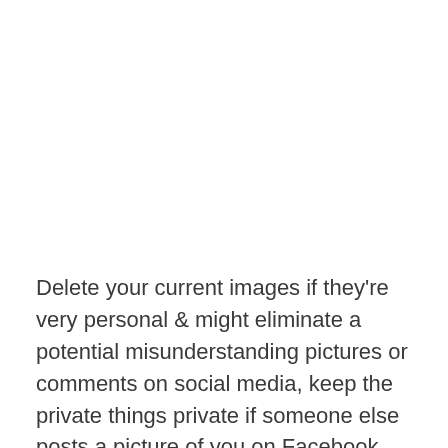Delete your current images if they're very personal & might eliminate a potential misunderstanding pictures or comments on social media, keep the private things private if someone else posts a picture of you on Facebook that you find embarrassing, remove the "tag" that identifies you, or anything else that could crash your reputation.